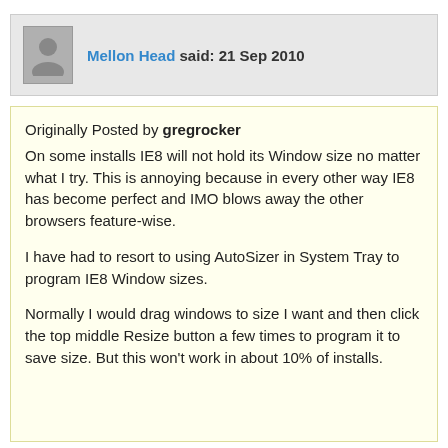Mellon Head said: 21 Sep 2010
Originally Posted by gregrocker
On some installs IE8 will not hold its Window size no matter what I try. This is annoying because in every other way IE8 has become perfect and IMO blows away the other browsers feature-wise.

I have had to resort to using AutoSizer in System Tray to program IE8 Window sizes.

Normally I would drag windows to size I want and then click the top middle Resize button a few times to program it to save size. But this won't work in about 10% of installs.